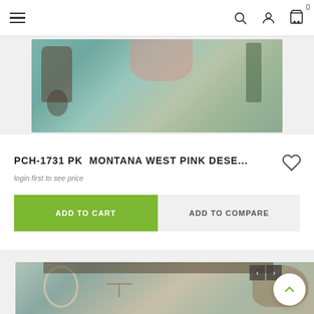Navigation bar with hamburger menu, search, account, and cart icons
[Figure (photo): Product photo - Montana West Pink Desert item on rustic teal wood background with lantern and pink macrame]
PCH-1731 PK  MONTANA WEST PINK DESE...
login first to see price
ADD TO CART
ADD TO COMPARE
[Figure (photo): Second product photo - western items on rustic wood background with rope, hanger, and cowhide]
Scroll to top button